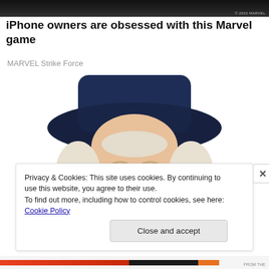[Figure (screenshot): Dark banner image at the top of a webpage, likely from a Marvel game advertisement. Has a small '© 2022 MARVEL' watermark in the bottom right corner.]
iPhone owners are obsessed with this Marvel game
MARVEL Strike Force
[Figure (illustration): Illustration of the Quaker Oats man — a smiling elderly man with white curly hair wearing a large dark navy blue wide-brimmed hat, set against a white background.]
Privacy & Cookies: This site uses cookies. By continuing to use this website, you agree to their use.
To find out more, including how to control cookies, see here: Cookie Policy
Close and accept